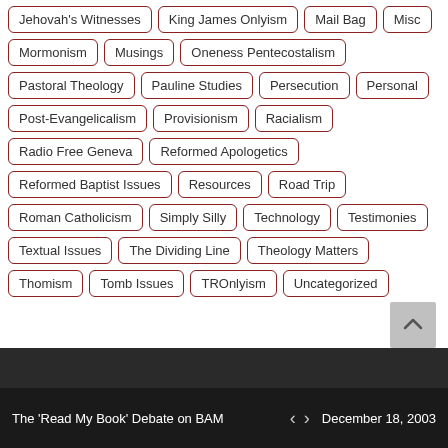Jehovah's Witnesses
King James Onlyism
Mail Bag
Misc
Mormonism
Musings
Oneness Pentecostalism
Pastoral Theology
Pauline Studies
Persecution
Personal
Post-Evangelicalism
Provisionism
Racialism
Radio Free Geneva
Reformed Apologetics
Reformed Baptist Issues
Resources
Road Trip
Roman Catholicism
Simply Silly
Technology
Testimonies
Textual Issues
The Dividing Line
Theology Matters
Thomism
Tomb Issues
TROnlyism
Uncategorized
The 'Read My Book' Debate on BAM  <  >  December 18, 2003